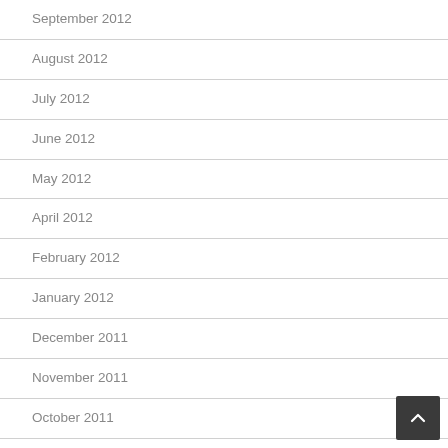September 2012
August 2012
July 2012
June 2012
May 2012
April 2012
February 2012
January 2012
December 2011
November 2011
October 2011